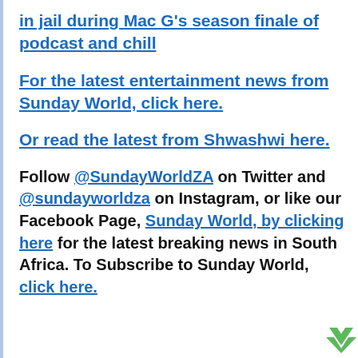in jail during Mac G's season finale of podcast and chill
For the latest entertainment news from Sunday World, click here.
Or read the latest from Shwashwi here.
Follow @SundayWorldZA on Twitter and @sundayworldza on Instagram, or like our Facebook Page, Sunday World, by clicking here for the latest breaking news in South Africa. To Subscribe to Sunday World, click here.